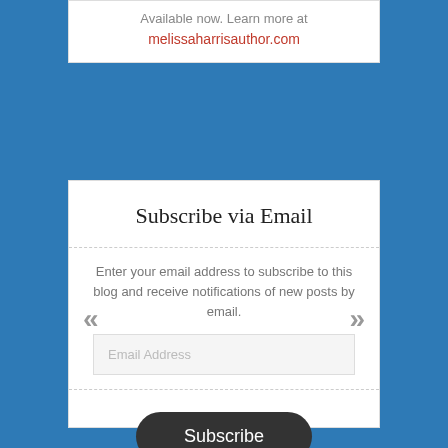Available now. Learn more at
melissaharrisauthor.com
Subscribe via Email
Enter your email address to subscribe to this blog and receive notifications of new posts by email.
Email Address
Subscribe